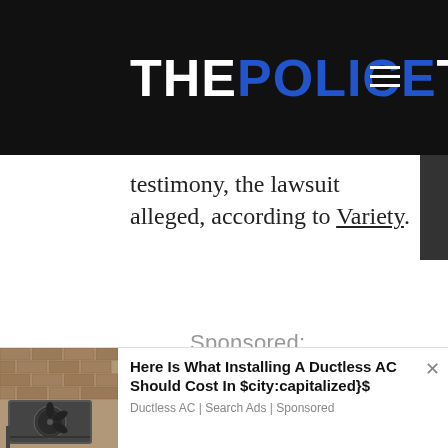THE POLICE TRIBUNE
testimony, the lawsuit alleged, according to Variety.
Sponsored:
[Figure (photo): Photo of an outdoor ductless AC unit mounted on a brick wall]
Here Is What Installing A Ductless AC Should Cost In $city:capitalized}$
Ductless AC | Search Ads | Sponsored